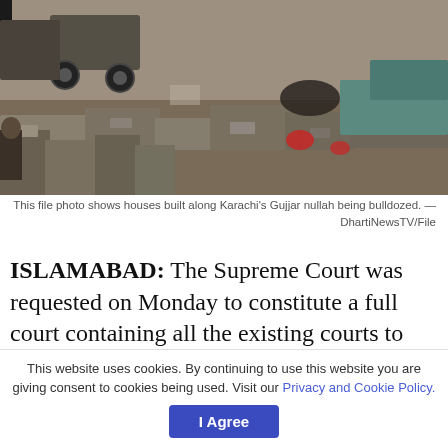[Figure (photo): File photo showing houses built along Karachi's Gujjar nullah being bulldozed. Rubble, concrete blocks, and a vehicle visible in the scene.]
This file photo shows houses built along Karachi's Gujjar nullah being bulldozed. — DhartiNewsTV/File
ISLAMABAD: The Supreme Court was requested on Monday to constitute a full court containing all the existing courts to evaluate its June 14 regulation to the Sindh federal government to remove both sides of Karachi's Gujjar and also Orangi nullahs of human negotiations– an order which caused the dispossession of
This website uses cookies. By continuing to use this website you are giving consent to cookies being used. Visit our Privacy and Cookie Policy.
I Agree